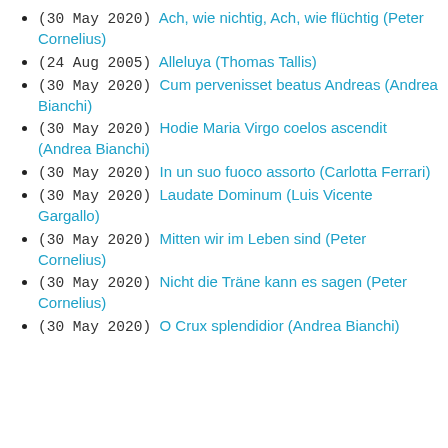(30 May 2020) Ach, wie nichtig, Ach, wie flüchtig (Peter Cornelius)
(24 Aug 2005) Alleluya (Thomas Tallis)
(30 May 2020) Cum pervenisset beatus Andreas (Andrea Bianchi)
(30 May 2020) Hodie Maria Virgo coelos ascendit (Andrea Bianchi)
(30 May 2020) In un suo fuoco assorto (Carlotta Ferrari)
(30 May 2020) Laudate Dominum (Luis Vicente Gargallo)
(30 May 2020) Mitten wir im Leben sind (Peter Cornelius)
(30 May 2020) Nicht die Träne kann es sagen (Peter Cornelius)
(30 May 2020) O Crux splendidior (Andrea Bianchi)